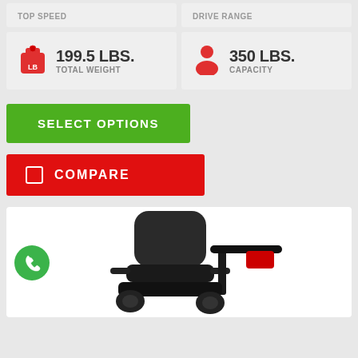TOP SPEED
DRIVE RANGE
199.5 LBS. TOTAL WEIGHT
350 LBS. CAPACITY
SELECT OPTIONS
COMPARE
[Figure (photo): Power wheelchair/scooter product photo showing seat, backrest and handlebars]